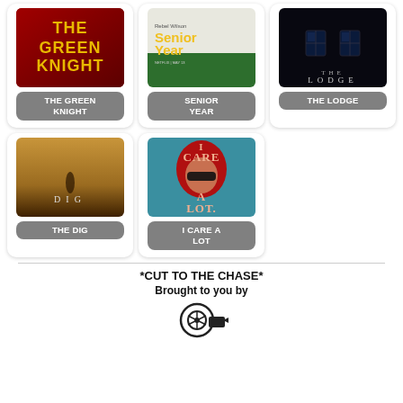[Figure (other): Movie poster for The Green Knight - dark red background with yellow stylized text]
THE GREEN KNIGHT
[Figure (other): Movie poster for Senior Year - white and green cheerleader theme with Rebel Wilson]
SENIOR YEAR
[Figure (other): Movie poster for The Lodge - dark night scene with lit windows]
THE LODGE
[Figure (other): Movie poster for The Dig - golden field landscape with silhouette]
THE DIG
[Figure (other): Movie poster for I Care A Lot - teal background with red-haired woman]
I CARE A LOT
*CUT TO THE CHASE*
Brought to you by
[Figure (logo): Film reel icon]